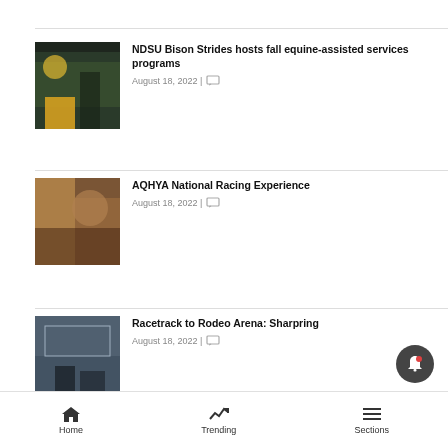NDSU Bison Strides hosts fall equine-assisted services programs | August 18, 2022
AQHYA National Racing Experience | August 18, 2022
Racetrack to Rodeo Arena: Sharpring | August 18, 2022
Iowa: IQHA Ranch Horse Stallion Breeders Program & Futurity
Home | Trending | Sections